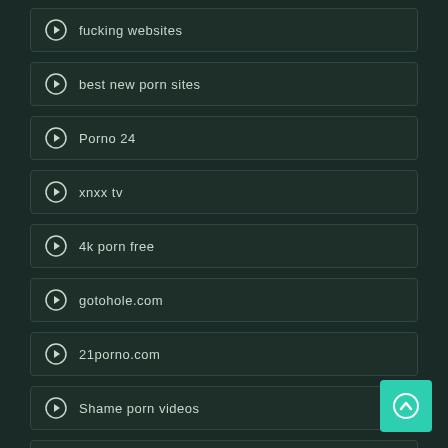fucking websites
best new porn sites
Porno 24
xnxx tv
4k porn free
gotohole.com
21porno.com
Shame porn videos
Free XXX Clips